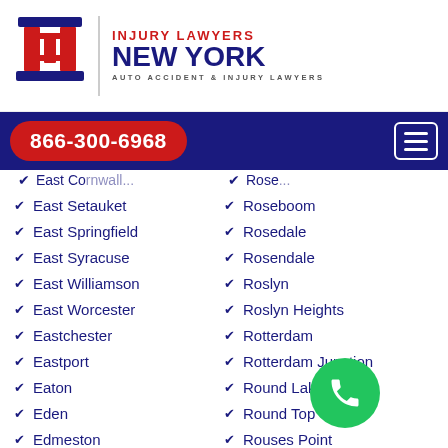[Figure (logo): Injury Lawyers New York logo with red IL columns icon, red 'INJURY LAWYERS', blue 'NEW YORK', and subtitle 'AUTO ACCIDENT & INJURY LAWYERS']
866-300-6968
East Setauket
Roseboom
East Springfield
Rosedale
East Syracuse
Rosendale
East Williamson
Roslyn
East Worcester
Roslyn Heights
Eastchester
Rotterdam
Eastport
Rotterdam Junction
Eaton
Round Lake
Eden
Round Top
Edmeston
Rouses Point